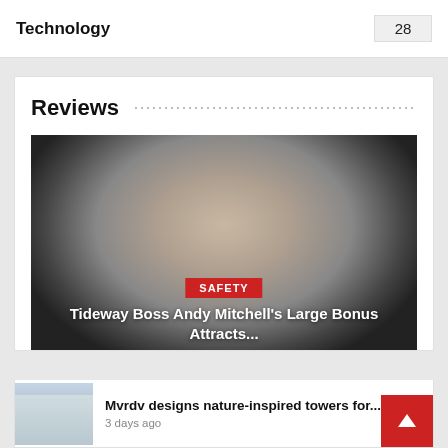Technology  28
Reviews
[Figure (photo): Headshot of a middle-aged man in a dark suit, smiling slightly, with grey hair, against a grey gradient background. Overlaid with a red 'SAFETY' tag and white headline text.]
SAFETY
Tideway Boss Andy Mitchell's Large Bonus Attracts...
[Figure (photo): Small thumbnail image of nature-inspired tower buildings in an urban setting.]
Mvrdv designs nature-inspired towers for...
3 days ago